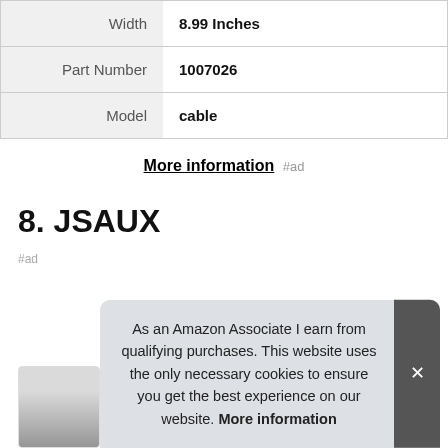| Width | 8.99 Inches |
| Part Number | 1007026 |
| Model | cable |
More information #ad
8. JSAUX
#ad
As an Amazon Associate I earn from qualifying purchases. This website uses the only necessary cookies to ensure you get the best experience on our website. More information